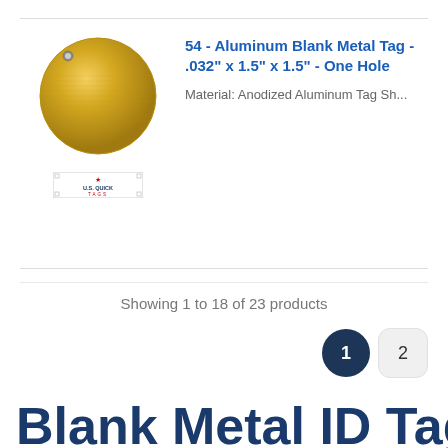[Figure (photo): Round golden/yellow anodized aluminum blank metal tag with one hole at top, shown against white background]
[Figure (logo): U.S. Quick Tags brand badge/logo]
54 - Aluminum Blank Metal Tag - .032" x 1.5" x 1.5" - One Hole
Material: Anodized Aluminum Tag Sh...
Showing 1 to 18 of 23 products
1  2
Blank Metal ID Tags